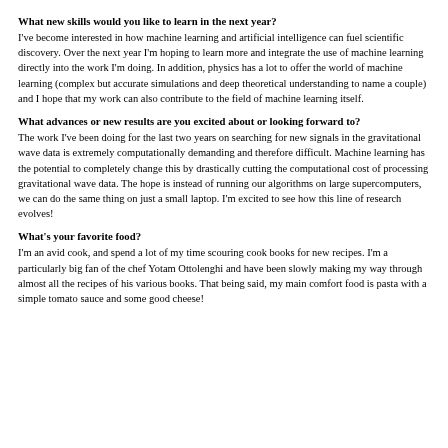What new skills would you like to learn in the next year?
I've become interested in how machine learning and artificial intelligence can fuel scientific discovery. Over the next year I'm hoping to learn more and integrate the use of machine learning directly into the work I'm doing. In addition, physics has a lot to offer the world of machine learning (complex but accurate simulations and deep theoretical understanding to name a couple) and I hope that my work can also contribute to the field of machine learning itself.
What advances or new results are you excited about or looking forward to?
The work I've been doing for the last two years on searching for new signals in the gravitational wave data is extremely computationally demanding and therefore difficult. Machine learning has the potential to completely change this by drastically cutting the computational cost of processing gravitational wave data. The hope is instead of running our algorithms on large supercomputers, we can do the same thing on just a small laptop. I'm excited to see how this line of research evolves!
What's your favorite food?
I'm an avid cook, and spend a lot of my time scouring cook books for new recipes. I'm a particularly big fan of the chef Yotam Ottolenghi and have been slowly making my way through almost all the recipes of his various books. That being said, my main comfort food is pasta with a simple tomato sauce and some good cheese!